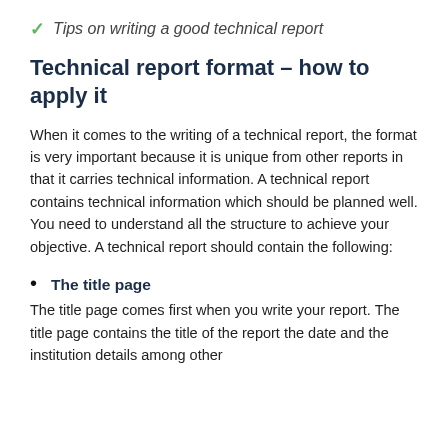Tips on writing a good technical report
Technical report format – how to apply it
When it comes to the writing of a technical report, the format is very important because it is unique from other reports in that it carries technical information. A technical report contains technical information which should be planned well. You need to understand all the structure to achieve your objective. A technical report should contain the following:
The title page
The title page comes first when you write your report. The title page contains the title of the report the date and the institution details among other...